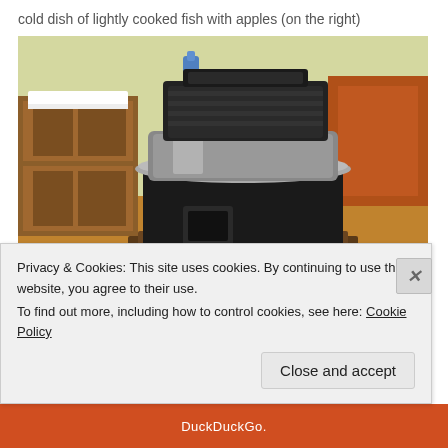cold dish of lightly cooked fish with apples (on the right)
[Figure (photo): A Japanese tabletop cooking stove/burner (cast iron, black, with a round aluminum/silver pot on top) sitting on a wooden tray on a dining table. In the background are wooden furniture, a lace tablecloth, and a leather-look chair. A small white bowl is visible at the lower left corner.]
Privacy & Cookies: This site uses cookies. By continuing to use this website, you agree to their use.
To find out more, including how to control cookies, see here: Cookie Policy
Close and accept
DuckDuckGo.